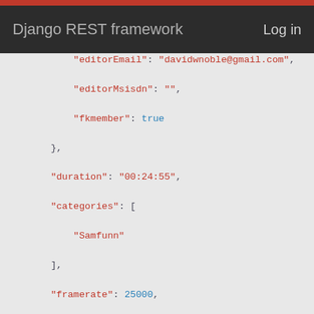Django REST framework   Log in
JSON code block showing API response fields: editorEmail, editorMsisdn, fkmember, duration, categories, framerate, properImport, hasTonoRecords, publishOnWeb, isFiller, refUrl, createdTime, updatedTime, uploadedTime, ogvUrl, largeThumbnailUrl, and start of next object with id 625455 and name TED - John Green: The nerd's guide t